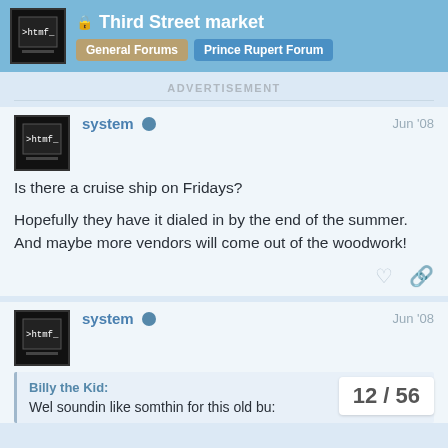Third Street market — General Forums › Prince Rupert Forum
ADVERTISEMENT
system   Jun '08
Is there a cruise ship on Fridays?

Hopefully they have it dialed in by the end of the summer.  And maybe more vendors will come out of the woodwork!
system   Jun '08
Billy the Kid:
Wel soundin like somthin for this old bu:
12 / 56